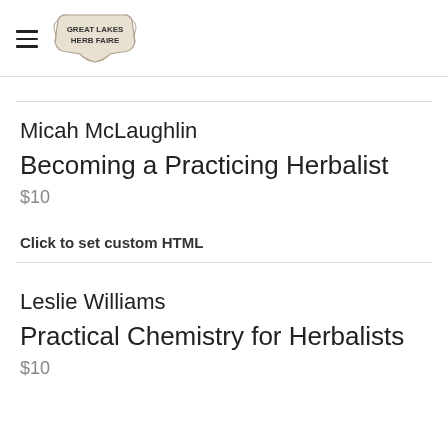Great Lakes Herb Faire
Micah McLaughlin
Becoming a Practicing Herbalist
$10
Click to set custom HTML
Leslie Williams
Practical Chemistry for Herbalists
$10